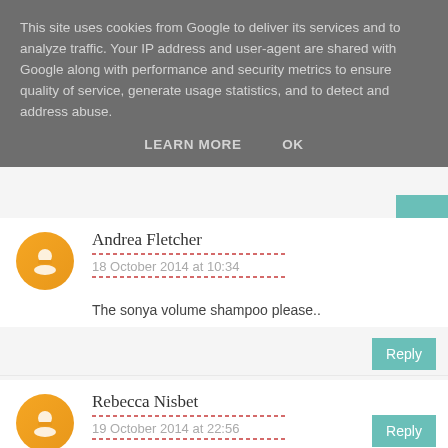This site uses cookies from Google to deliver its services and to analyze traffic. Your IP address and user-agent are shared with Google along with performance and security metrics to ensure quality of service, generate usage statistics, and to detect and address abuse.
LEARN MORE   OK
Andrea Fletcher
18 October 2014 at 10:34
The sonya volume shampoo please..
Reply
Rebecca Nisbet
19 October 2014 at 22:56
like to try the aloe hand soap.
Reply